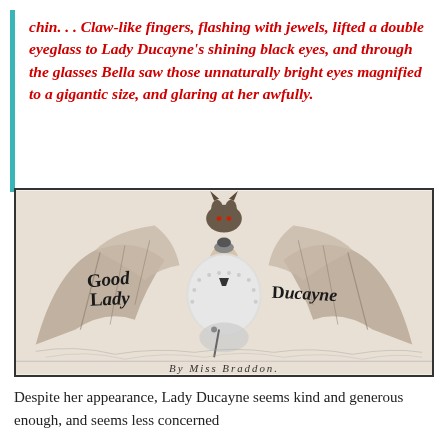chin. . . Claw-like fingers, flashing with jewels, lifted a double eyeglass to Lady Ducayne's shining black eyes, and through the glasses Bella saw those unnaturally bright eyes magnified to a gigantic size, and glaring at her awfully.
[Figure (illustration): Vintage illustration of Good Lady Ducayne by Miss Braddon. A woman in a large fur-trimmed cape stands at center with giant bat wings spread behind her. The wings bear the text 'Good Lady Ducayne'. Below the image reads 'By Miss Braddon.']
Despite her appearance, Lady Ducayne seems kind and generous enough, and seems less concerned